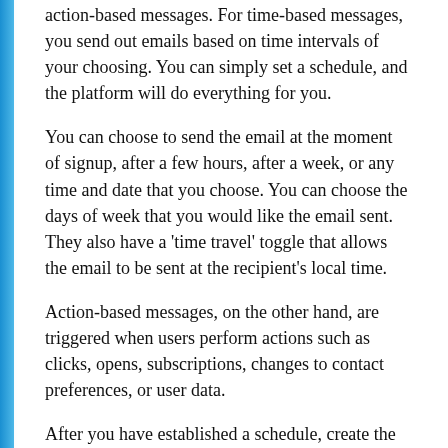action-based messages. For time-based messages, you send out emails based on time intervals of your choosing. You can simply set a schedule, and the platform will do everything for you.
You can choose to send the email at the moment of signup, after a few hours, after a week, or any time and date that you choose. You can choose the days of week that you would like the email sent. They also have a 'time travel' toggle that allows the email to be sent at the recipient's local time.
Action-based messages, on the other hand, are triggered when users perform actions such as clicks, opens, subscriptions, changes to contact preferences, or user data.
After you have established a schedule, create the email and then publish it. To maximize this feature even further, use it with GetResponse's marketing automation feature, which